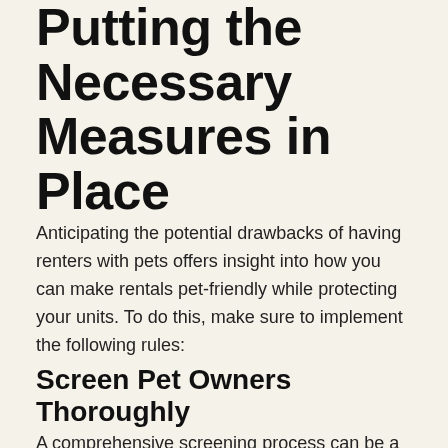Putting the Necessary Measures in Place
Anticipating the potential drawbacks of having renters with pets offers insight into how you can make rentals pet-friendly while protecting your units. To do this, make sure to implement the following rules:
Screen Pet Owners Thoroughly
A comprehensive screening process can be a